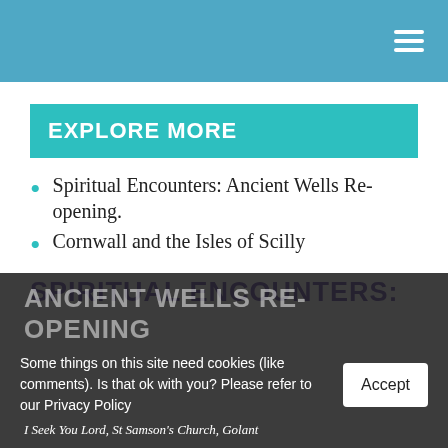EXPLORE MORE
Spiritual Encounters: Ancient Wells Re-opening.
Cornwall and the Isles of Scilly
SPIRITUAL ENCOUNTERS:
ANCIENT WELLS RE-OPENING
Some things on this site need cookies (like comments). Is that ok with you? Please refer to our Privacy Policy
I Seek You Lord, St Samson's Church, Golant